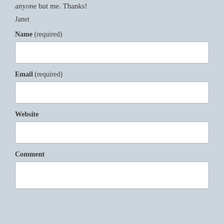anyone but me. Thanks!
Janet
Name (required)
[Figure (other): Empty text input box for Name field]
Email (required)
[Figure (other): Empty text input box for Email field]
Website
[Figure (other): Empty text input box for Website field]
Comment
[Figure (other): Empty textarea for Comment field]